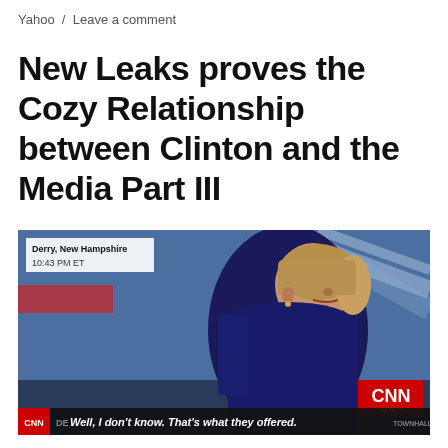Yahoo / Leave a comment
New Leaks proves the Cozy Relationship between Clinton and the Media Part III
[Figure (screenshot): CNN television screenshot showing a woman in a dark jacket speaking at what appears to be a political event in Derry, New Hampshire at 10:43 PM ET. The CNN logo appears in the lower right. A chyron at the bottom reads: 'Well, I don't know. That's what they offered.' with CNN DEBA... and TOWNHALL text visible.]